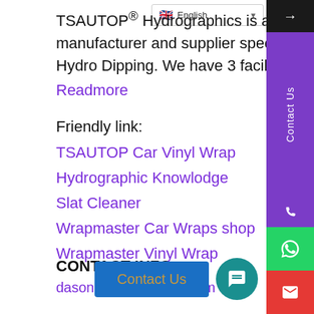TSAUTOP® Hydrographics is a manufacturer and supplier specialized in the field of Hydro Dipping. We have 3 facilities covering...
Readmore
Friendly link:
TSAUTOP Car Vinyl Wrap
Hydrographic Knowlodge
Slat Cleaner
Wrapmaster Car Wraps shop
Wrapmaster Vinyl Wrap
CONTACT INFO
dasonchan@tsautop.com